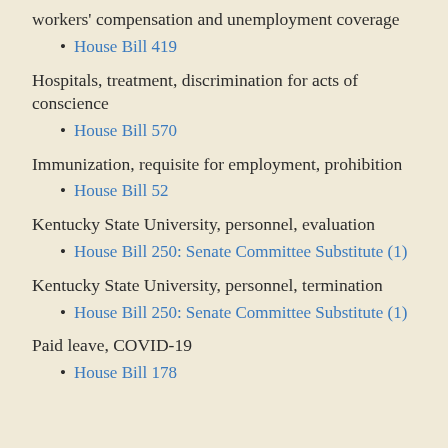workers' compensation and unemployment coverage
House Bill 419
Hospitals, treatment, discrimination for acts of conscience
House Bill 570
Immunization, requisite for employment, prohibition
House Bill 52
Kentucky State University, personnel, evaluation
House Bill 250: Senate Committee Substitute (1)
Kentucky State University, personnel, termination
House Bill 250: Senate Committee Substitute (1)
Paid leave, COVID-19
House Bill 178